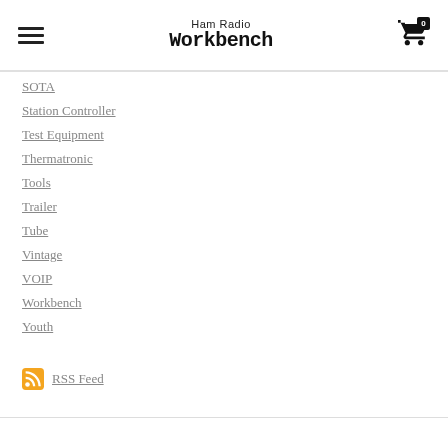Ham Radio Workbench
SOTA
Station Controller
Test Equipment
Thermatronic
Tools
Trailer
Tube
Vintage
VOIP
Workbench
Youth
RSS Feed